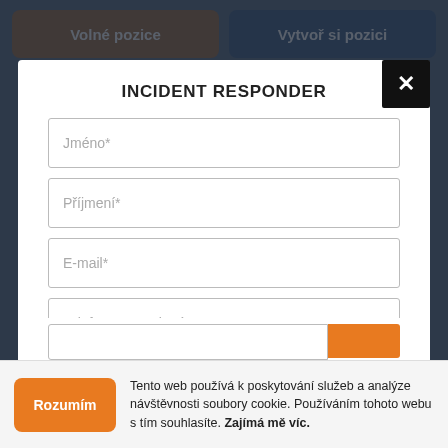[Figure (screenshot): Navigation bar with two buttons: 'Volné pozice' (brown) and 'Vytvoř si pozici' (dark blue)]
INCIDENT RESPONDER
Jméno*
Příjmení*
E-mail*
Telefon - nepovinné
LinkedIn - nepovinné
Tento web používá k poskytování služeb a analýze návštěvnosti soubory cookie. Používáním tohoto webu s tím souhlasíte. Zajímá mě víc.